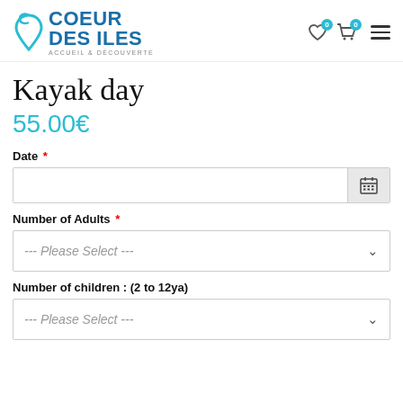COEUR DES ILES — ACCUEIL & DÉCOUVERTE
Kayak day
55.00€
Date *
Number of Adults *
--- Please Select ---
Number of children : (2 to 12ya)
--- Please Select ---